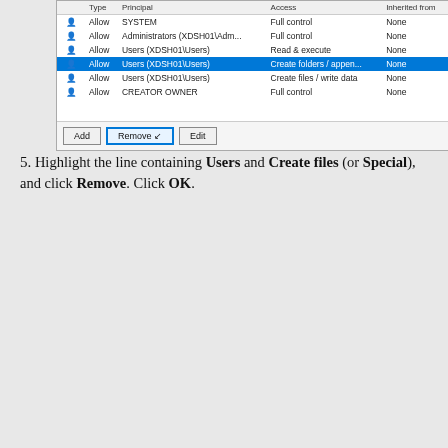[Figure (screenshot): Windows permissions table showing Type, Principal, Access, Inherited from columns with rows for SYSTEM, Administrators, Users entries. One row highlighted in blue: Users (XDSH01\Users) with Create folders / appen... access. Buttons: Add, Remove (focused), Edit.]
5. Highlight the line containing Users and Create files (or Special), and click Remove. Click OK.
[Figure (screenshot): Advanced Security Settings for Local Disk (C:) dialog showing Name: C:\, Owner: TrustedInstaller with Change link, tabs: Permissions (active), Auditing, Effective Access. Permission entries table with columns Type, Principal, Access, Inherited from. Rows: SYSTEM Full control None, Administrators (XDSH01\Adm... Full control None, Users (XDSH01\Users) Read & execute None, Users (XDSH01\Users) highlighted blue with Create files / write data None, CREATOR OWNER Full control None.]